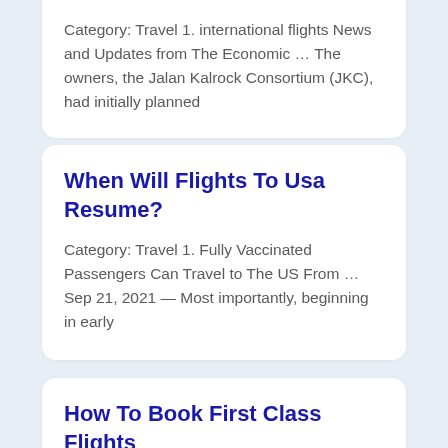Category: Travel 1. international flights News and Updates from The Economic … The owners, the Jalan Kalrock Consortium (JKC), had initially planned
When Will Flights To Usa Resume?
Category: Travel 1. Fully Vaccinated Passengers Can Travel to The US From … Sep 21, 2021 — Most importantly, beginning in early
How To Book First Class Flights